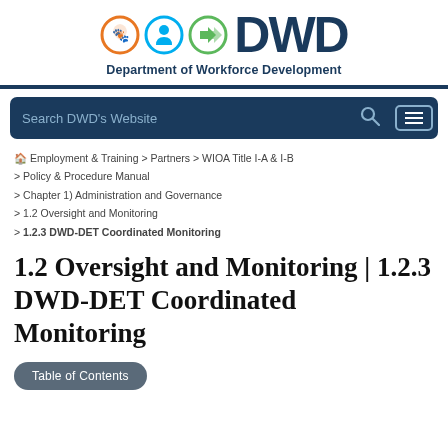[Figure (logo): DWD Wisconsin Department of Workforce Development logo with three colored circles (orange, blue, green) and DWD text]
Department of Workforce Development
Search DWD's Website
Employment & Training > Partners > WIOA Title I-A & I-B > Policy & Procedure Manual > Chapter 1) Administration and Governance > 1.2 Oversight and Monitoring > 1.2.3 DWD-DET Coordinated Monitoring
1.2 Oversight and Monitoring | 1.2.3 DWD-DET Coordinated Monitoring
Table of Contents